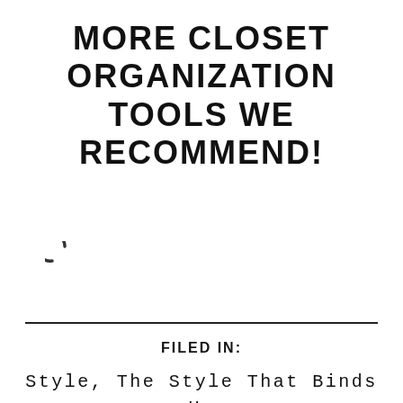MORE CLOSET ORGANIZATION TOOLS WE RECOMMEND!
[Figure (other): Loading spinner icon (partial circle arc, dark gray gradient)]
FILED IN:
Style, The Style That Binds Us